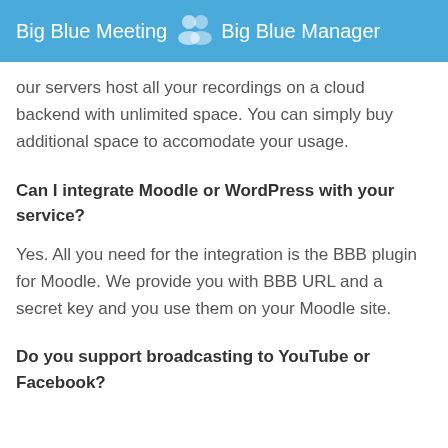Big Blue Meeting  Big Blue Manager
our servers host all your recordings on a cloud backend with unlimited space. You can simply buy additional space to accomodate your usage.
Can I integrate Moodle or WordPress with your service?
Yes. All you need for the integration is the BBB plugin for Moodle. We provide you with BBB URL and a secret key and you use them on your Moodle site.
Do you support broadcasting to YouTube or Facebook?